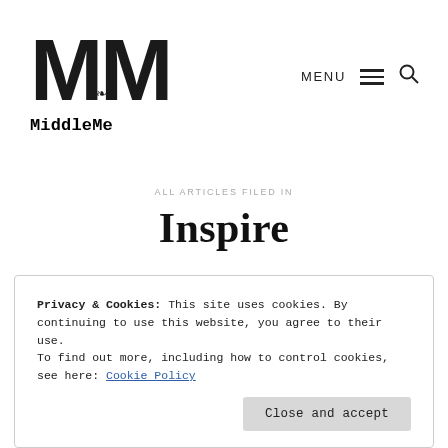[Figure (logo): MiddleMe logo with two large M letters and a small figure between them]
MiddleMe
MENU
ALL ARTICLES FILED IN
Inspire
Privacy & Cookies: This site uses cookies. By continuing to use this website, you agree to their use.
To find out more, including how to control cookies, see here: Cookie Policy
Close and accept